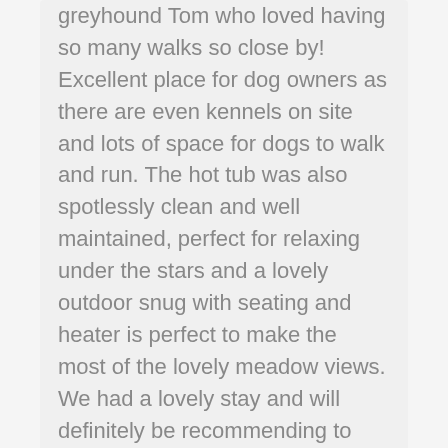greyhound Tom who loved having so many walks so close by! Excellent place for dog owners as there are even kennels on site and lots of space for dogs to walk and run. The hot tub was also spotlessly clean and well maintained, perfect for relaxing under the stars and a lovely outdoor snug with seating and heater is perfect to make the most of the lovely meadow views. We had a lovely stay and will definitely be recommending to friends and family!
Will return!
Stayed July 2018
We have just returned from a 4 night stay in Meadow Barn and cannot over emphasize how